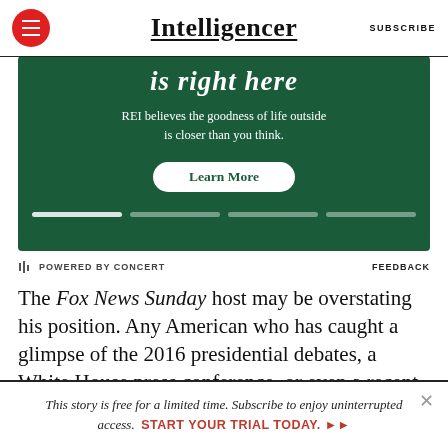Intelligencer | SUBSCRIBE
[Figure (screenshot): REI advertisement banner with dark green background. Partial italic text 'is right here' at top, followed by 'REI believes the goodness of life outside is closer than you think.' and a 'Learn More' button. Progress bar dots at bottom.]
POWERED BY CONCERT   FEEDBACK
The Fox News Sunday host may be overstating his position. Any American who has caught a glimpse of the 2016 presidential debates, a White House press conference, or even a recent Trump interview with Wallace himself knows that the president's sole
This story is free for a limited time. Subscribe to enjoy uninterrupted access. START YOUR TRIAL TODAY. ▶▶